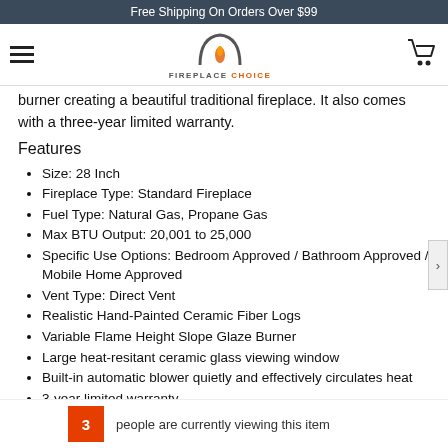Free Shipping On Orders Over $99
[Figure (logo): Fireplace Choice logo with flame arch icon and brand name]
burner creating a beautiful traditional fireplace. It also comes with a three-year limited warranty.
Features
Size: 28 Inch
Fireplace Type: Standard Fireplace
Fuel Type: Natural Gas, Propane Gas
Max BTU Output: 20,001 to 25,000
Specific Use Options: Bedroom Approved / Bathroom Approved / Mobile Home Approved
Vent Type: Direct Vent
Realistic Hand-Painted Ceramic Fiber Logs
Variable Flame Height Slope Glaze Burner
Large heat-resitant ceramic glass viewing window
Built-in automatic blower quietly and effectively circulates heat
3-year limited warranty
3 people are currently viewing this item